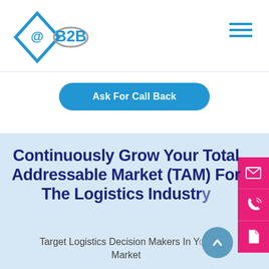[Figure (logo): @B2B company logo with blue diamond shape and stylized B2B text]
[Figure (illustration): Hamburger menu icon (three horizontal lines) in blue, top right]
Ask For Call Back
[Figure (illustration): Three pink/red side buttons: email envelope icon, phone icon, document icon]
Continuously Grow Your Total Addressable Market (TAM) For The Logistics Industry
Target Logistics Decision Makers In Your Market